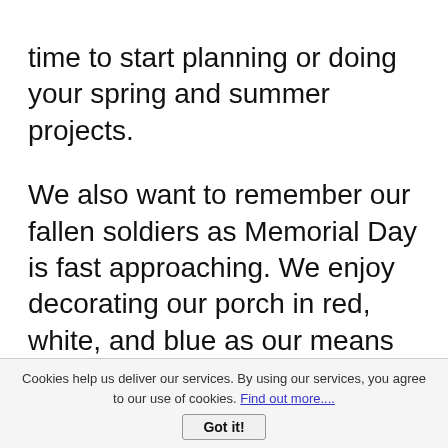time to start planning or doing your spring and summer projects.
We also want to remember our fallen soldiers as Memorial Day is fast approaching. We enjoy decorating our porch in red, white, and blue as our means of honoring those who paid the ultimate price for our freedoms.
[Figure (photo): A stylized American flag image with glowing neon-like effect showing blue field with white stars on the left and red and white stripes on the right, slightly transparent/abstract rendering.]
Cookies help us deliver our services. By using our services, you agree to our use of cookies. Find out more....
Got it!